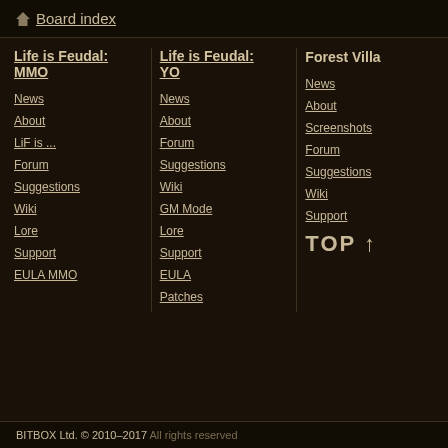Board index
Life is Feudal: MMO
News
About
LiF is ...
Forum
Suggestions
Wiki
Lore
Support
EULA MMO
Life is Feudal: YO
News
About
Forum
Suggestions
Wiki
GM Mode
Lore
Support
EULA
Patches
Forest Village
News
About
Screenshots
Forum
Suggestions
Wiki
Support
BITBOX Ltd. © 2010–2017 All rights reserved